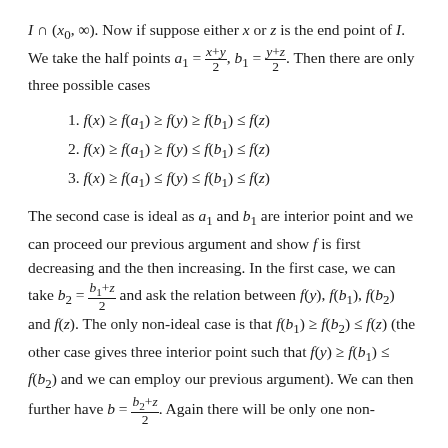I ∩ (x₀, ∞). Now if suppose either x or z is the end point of I. We take the half points a₁ = (x+y)/2, b₁ = (y+z)/2. Then there are only three possible cases
1. f(x) ≥ f(a₁) ≥ f(y) ≥ f(b₁) ≤ f(z)
2. f(x) ≥ f(a₁) ≥ f(y) ≤ f(b₁) ≤ f(z)
3. f(x) ≥ f(a₁) ≤ f(y) ≤ f(b₁) ≤ f(z)
The second case is ideal as a₁ and b₁ are interior point and we can proceed our previous argument and show f is first decreasing and the then increasing. In the first case, we can take b₂ = (b₁+z)/2 and ask the relation between f(y), f(b₁), f(b₂) and f(z). The only non-ideal case is that f(b₁) ≥ f(b₂) ≤ f(z) (the other case gives three interior point such that f(y) ≥ f(b₁) ≤ f(b₂) and we can employ our previous argument). We can then further have b = (b₂+z)/2. Again there will be only one non-